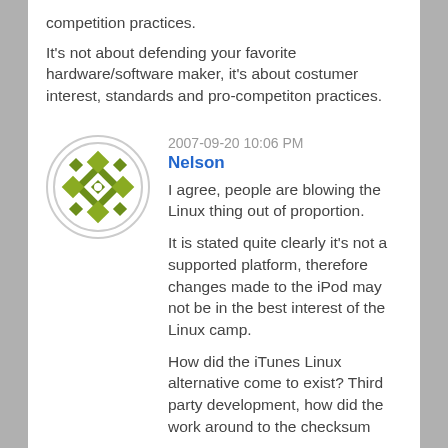competition practices.
It's not about defending your favorite hardware/software maker, it's about costumer interest, standards and pro-competiton practices.
2007-09-20 10:06 PM
Nelson
[Figure (illustration): Avatar icon for Nelson: green diamond/quilted pattern in a circular frame]
I agree, people are blowing the Linux thing out of proportion.
It is stated quite clearly it's not a supported platform, therefore changes made to the iPod may not be in the best interest of the Linux camp.
How did the iTunes Linux alternative come to exist? Third party development, how did the work around to the checksum